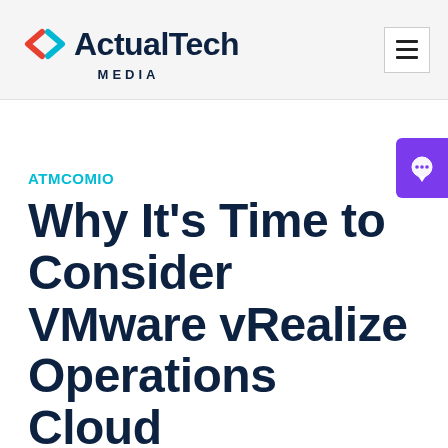ActualTech MEDIA
ATMCOMIO
Why It’s Time to Consider VMware vRealize Operations Cloud
Posted on December 3, 2020